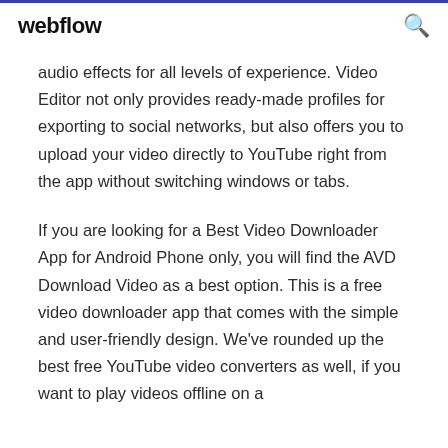webflow
audio effects for all levels of experience. Video Editor not only provides ready-made profiles for exporting to social networks, but also offers you to upload your video directly to YouTube right from the app without switching windows or tabs.
If you are looking for a Best Video Downloader App for Android Phone only, you will find the AVD Download Video as a best option. This is a free video downloader app that comes with the simple and user-friendly design. We've rounded up the best free YouTube video converters as well, if you want to play videos offline on a